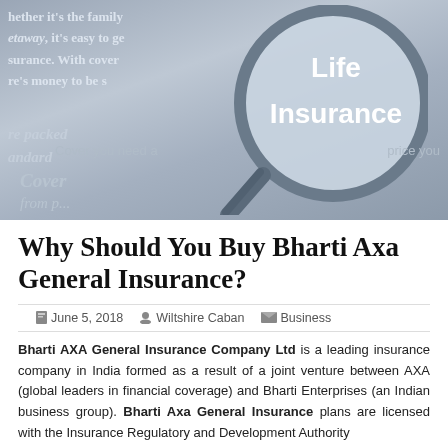[Figure (photo): A blue-toned photograph showing a magnifying glass over a document with the text 'Life Insurance' visible through the lens. Background documents show text fragments about insurance coverage and pricing.]
Why Should You Buy Bharti Axa General Insurance?
June 5, 2018   Wiltshire Caban   Business
Bharti AXA General Insurance Company Ltd is a leading insurance company in India formed as a result of a joint venture between AXA (global leaders in financial coverage) and Bharti Enterprises (an Indian business group). Bharti Axa General Insurance plans are licensed with the Insurance Regulatory and Development Authority